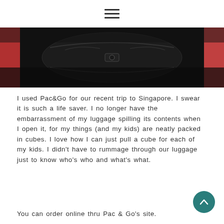☰
[Figure (photo): Dark photo of luggage/bag contents, partially visible at the top of the page]
I used Pac&Go for our recent trip to Singapore. I swear it is such a life saver. I no longer have the embarrassment of my luggage spilling its contents when I open it, for my things (and my kids) are neatly packed in cubes. I love how I can just pull a cube for each of my kids. I didn't have to rummage through our luggage just to know who's who and what's what.
You can order online thru Pac & Go's site.